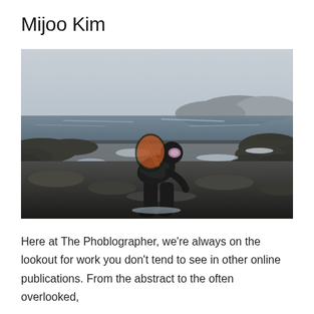Mijoo Kim
[Figure (photo): A person wearing a black wetsuit and diving goggles, bent forward carrying a large net/basket on their back, walking on rocky shoreline with ocean and rocky hills in the background. Dark, moody outdoor photography.]
Here at The Phoblographer, we're always on the lookout for work you don't tend to see in other online publications. From the abstract to the often overlooked,